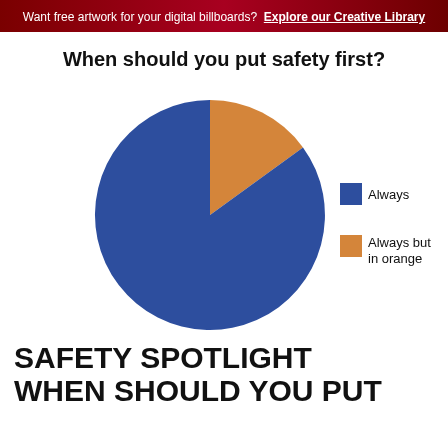Want free artwork for your digital billboards? Explore our Creative Library
When should you put safety first?
[Figure (pie-chart): When should you put safety first?]
SAFETY SPOTLIGHT
WHEN SHOULD YOU PUT